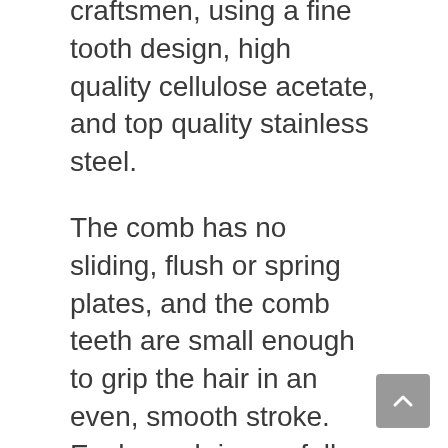The Kent combs are handcrafted by skilled craftsmen, using a fine tooth design, high quality cellulose acetate, and top quality stainless steel.
The comb has no sliding, flush or spring plates, and the comb teeth are small enough to grip the hair in an even, smooth stroke. Each comb is carefully handcrafted, which makes each comb one of a kind. The smooth polished comb has saw cut teeth, which stimulates the hair follicles and aids in styling.
Learn More on Amazon
Not what you're looking for? Read our roundup review: 9 Best Men's Hair Combs for